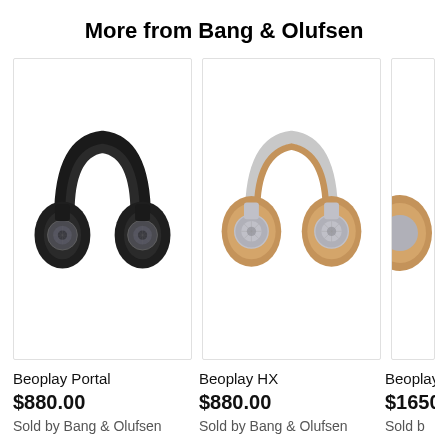More from Bang & Olufsen
[Figure (photo): Black Beoplay Portal over-ear headphones on white background]
[Figure (photo): Tan/brown and silver Beoplay HX over-ear headphones on white background]
[Figure (photo): Partially visible third Bang & Olufsen headphone product]
Beoplay Portal
$880.00
Sold by Bang & Olufsen
Beoplay HX
$880.00
Sold by Bang & Olufsen
Beoplay
$1650
Sold b